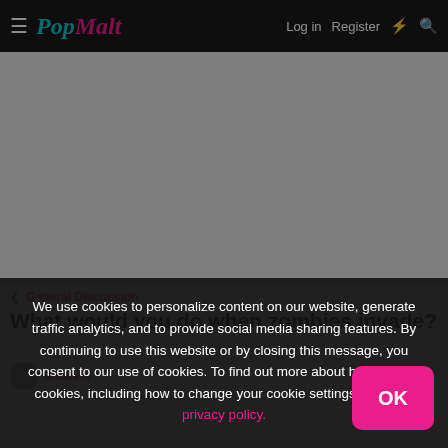PopMalt | Log in | Register
[Figure (other): Advertisement / grey placeholder area]
< General Discussion
What would you do when zombies invade?
SroShow
We use cookies to personalize content on our website, generate traffic analytics, and to provide social media sharing features. By continuing to use this website or by closing this message, you consent to our use of cookies. To find out more about how we use cookies, including how to change your cookie settings, read our privacy policy.